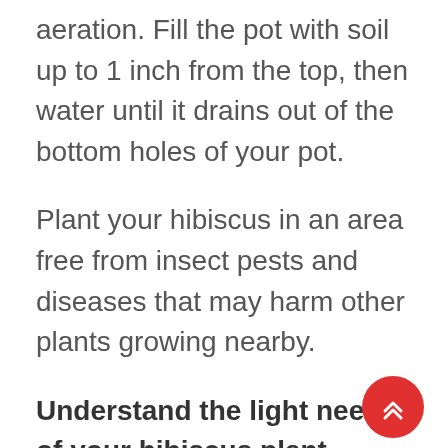aeration. Fill the pot with soil up to 1 inch from the top, then water until it drains out of the bottom holes of your pot.
Plant your hibiscus in an area free from insect pests and diseases that may harm other plants growing nearby.
Understand the light needs of your hibiscus plant